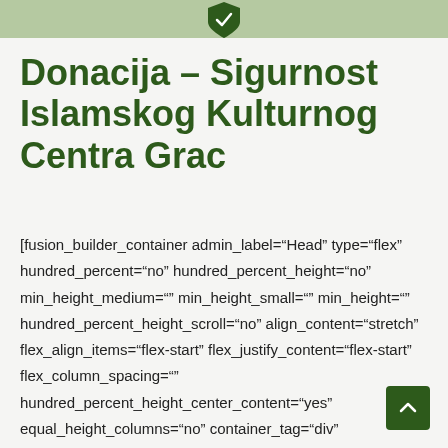[Figure (illustration): Green header bar with a dark green shield/heart icon centered at the top]
Donacija – Sigurnost Islamskog Kulturnog Centra Grac
[fusion_builder_container admin_label="Head" type="flex" hundred_percent="no" hundred_percent_height="no" min_height_medium="" min_height_small="" min_height="" hundred_percent_height_scroll="no" align_content="stretch" flex_align_items="flex-start" flex_justify_content="flex-start" flex_column_spacing="" hundred_percent_height_center_content="yes" equal_height_columns="no" container_tag="div" menu_anchor="" hide_on_mobile="small-visibility,medium-visibility,large-visibility" status="published" publish_date="" class="" id=""